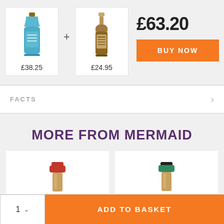[Figure (illustration): Blue gin bottle product image with price £38.25]
[Figure (illustration): Brown whisky bottle product image with price £24.95]
£63.20
BUY NOW
FACTS
MORE FROM MERMAID
[Figure (photo): Top of a bottle with red/pink wax seal]
[Figure (photo): Top of a bottle with green/black wax seal]
1
ADD TO BASKET